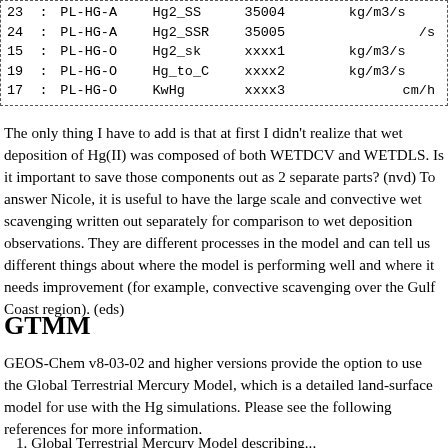| # | : | Type | Variable | Code |  | Unit |
| --- | --- | --- | --- | --- | --- | --- |
| 23 | : | PL-HG-A | Hg2_SS | 35004 |  | kg/m3/s |
| 24 | : | PL-HG-A | Hg2_SSR | 35005 |  | /s |
| 15 | : | PL-HG-O | Hg2_sk | xxxx1 |  | kg/m3/s |
| 19 | : | PL-HG-O | Hg_to_C | xxxx2 |  | kg/m3/s |
| 17 | : | PL-HG-O | KwHg | xxxx3 |  | cm/h |
The only thing I have to add is that at first I didn't realize that wet deposition of Hg(II) was composed of both WETDCV and WETDLS. Is it important to save those components out as 2 separate parts? (nvd) To answer Nicole, it is useful to have the large scale and convective wet scavenging written out separately for comparison to wet deposition observations. They are different processes in the model and can tell us different things about where the model is performing well and where it needs improvement (for example, convective scavenging over the Gulf Coast region). (eds)
GTMM
GEOS-Chem v8-03-02 and higher versions provide the option to use the Global Terrestrial Mercury Model, which is a detailed land-surface model for use with the Hg simulations. Please see the following references for more information.
1. Global Terrestrial Mercury Model describing...